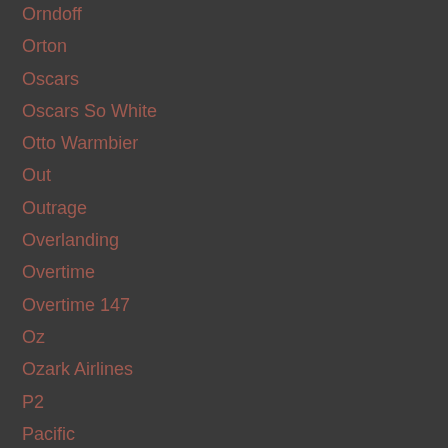Orndoff
Orton
Oscars
Oscars So White
Otto Warmbier
Out
Outrage
Overlanding
Overtime
Overtime 147
Oz
Ozark Airlines
P2
Pacific
Pacific Ocean
Paint
Palestine
Pam Hupp
Panama Papers
Pandemic
Panels